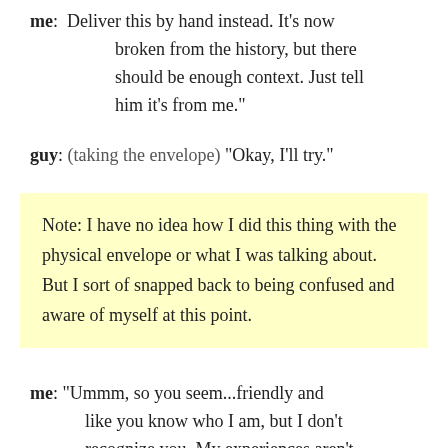me: Deliver this by hand instead. It's now broken from the history, but there should be enough context. Just tell him it's from me.
guy: (taking the envelope) "Okay, I'll try."
Note: I have no idea how I did this thing with the physical envelope or what I was talking about. But I sort of snapped back to being confused and aware of myself at this point.
me: "Ummm, so you seem...friendly and like you know who I am, but I don't recognize you. My experiences aren't